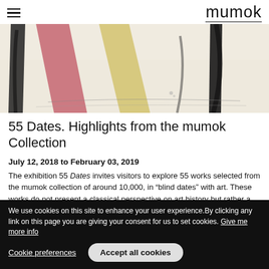mumok
[Figure (illustration): Abstract artwork with colored shapes — pink, yellow diagonal forms and dark brush strokes on a light background. Banner-format crop of a painting.]
55 Dates. Highlights from the mumok Collection
July 12, 2018 to February 03, 2019
The exhibition 55 Dates invites visitors to explore 55 works selected from the mumok collection of around 10,000, in “blind dates” with art. These works do not present a classical perspective on art history but rather a diverse coexistence of ways of thinking, themes, and artistic media. The selection ranges from Paul Klee
We use cookies on this site to enhance your user experience. By clicking any link on this page you are giving your consent for us to set cookies. Give me more info
Cookie preferences
Accept all cookies